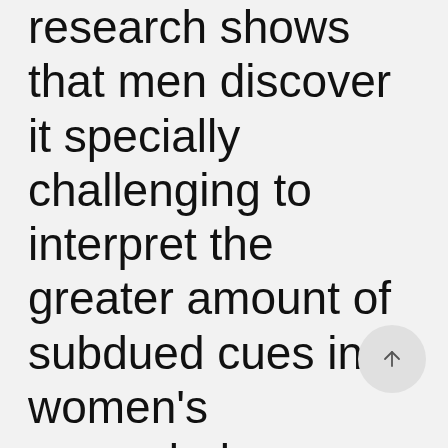research shows that men discover it specially challenging to interpret the greater amount of subdued cues in women's nonverbal communication and are inclined to confuse our friendliness for erotic curiosity.

Men and women may flirt to fulfil their